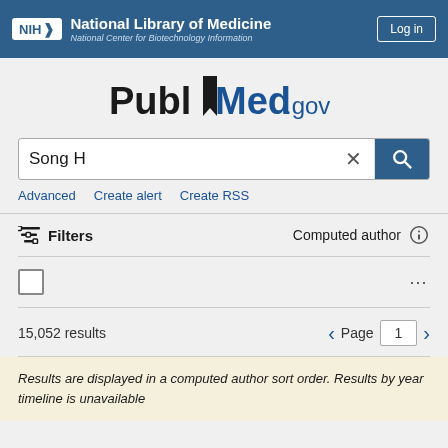NIH National Library of Medicine National Center for Biotechnology Information
[Figure (logo): PubMed.gov logo with bookmark icon]
Song H
Advanced   Create alert   Create RSS
Filters   Computed author
15,052 results   Page 1
Results are displayed in a computed author sort order. Results by year timeline is unavailable